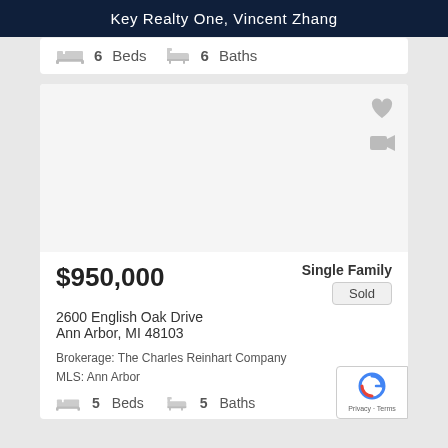Key Realty One, Vincent Zhang
6 Beds  6 Baths
[Figure (photo): Property listing photo area (blank/white) with heart icon and video camera icon overlaid]
$950,000
Single Family
Sold
2600 English Oak Drive
Ann Arbor, MI 48103
Brokerage: The Charles Reinhart Company
MLS: Ann Arbor
5 Beds  5 Baths